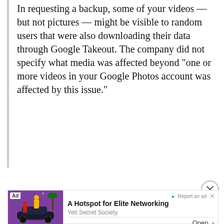In requesting a backup, some of your videos — but not pictures — might be visible to random users that were also downloading their data through Google Takeout. The company did not specify what media was affected beyond "one or more videos in your Google Photos account was affected by this issue."
[Figure (other): Advertisement banner: colorful illustrated image on left with 'Ad' badge, text 'A Hotspot for Elite Networking' by Yeti Secret Society, with Open button and Report an ad link]